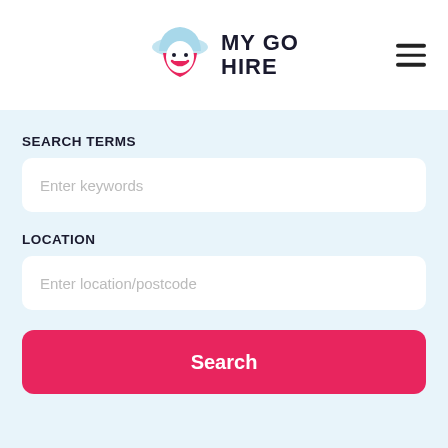[Figure (logo): MyGoHire logo with a construction worker helmet icon in blue and pink, with text MY GO HIRE in bold black]
[Figure (other): Hamburger menu icon (three horizontal lines) in dark color]
SEARCH TERMS
Enter keywords
LOCATION
Enter location/postcode
Search